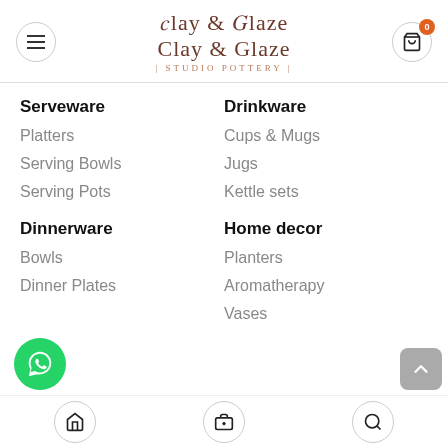Clay & Glaze | Studio Pottery |
Serveware
Platters
Serving Bowls
Serving Pots
Dinnerware
Bowls
Dinner Plates
Drinkware
Cups & Mugs
Jugs
Kettle sets
Home decor
Planters
Aromatherapy
Vases